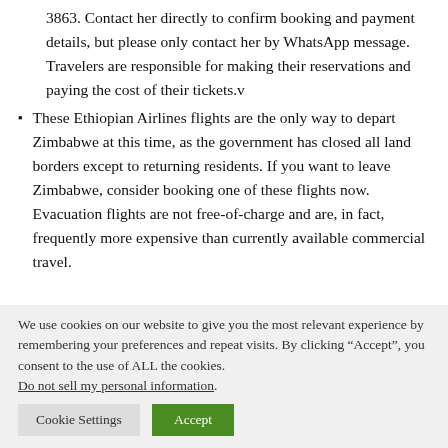3863.  Contact her directly to confirm booking and payment details, but please only contact her by WhatsApp message. Travelers are responsible for making their reservations and paying the cost of their tickets.v
These Ethiopian Airlines flights are the only way to depart Zimbabwe at this time, as the government has closed all land borders except to returning residents. If you want to leave Zimbabwe, consider booking one of these flights now.  Evacuation flights are not free-of-charge and are, in fact, frequently more expensive than currently available commercial travel.
We use cookies on our website to give you the most relevant experience by remembering your preferences and repeat visits. By clicking “Accept”, you consent to the use of ALL the cookies. Do not sell my personal information.